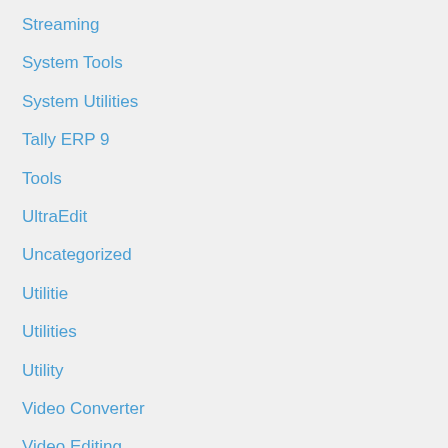Streaming
System Tools
System Utilities
Tally ERP 9
Tools
UltraEdit
Uncategorized
Utilitie
Utilities
Utility
Video Converter
Video Editing
Video Editor
Virtualization
VPN